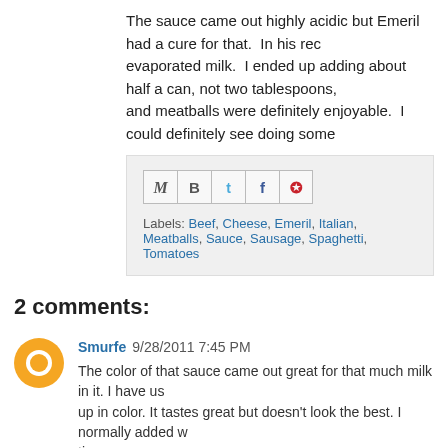The sauce came out highly acidic but Emeril had a cure for that. In his rec evaporated milk. I ended up adding about half a can, not two tablespoons, and meatballs were definitely enjoyable. I could definitely see doing some
[Figure (other): Social share buttons: Gmail (M), Blogger (B), Twitter (t), Facebook (f), Pinterest (P)]
Labels: Beef, Cheese, Emeril, Italian, Meatballs, Sauce, Sausage, Spaghetti, Tomatoes
2 comments:
Smurfe 9/28/2011 7:45 PM
The color of that sauce came out great for that much milk in it. I have us up in color. It tastes great but doesn't look the best. I normally added w time.
Reply
diabeticFoodie 9/28/2011 8:45 PM
Gorgeous! Like the evaporated milk trick too.
Reply